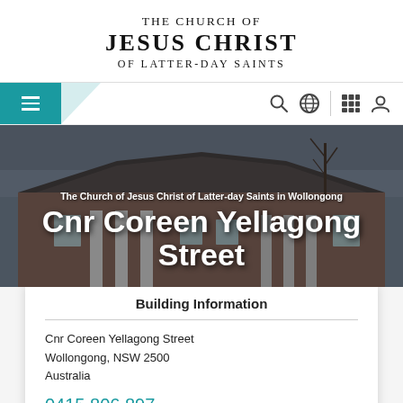[Figure (logo): The Church of Jesus Christ of Latter-day Saints logo/wordmark]
[Figure (screenshot): Website navigation bar with hamburger menu, search icon, globe icon, grid icon, and user icon]
[Figure (photo): Church building exterior photo, brick building with columns under an overcast sky]
The Church of Jesus Christ of Latter-day Saints in Wollongong
Cnr Coreen Yellagong Street
Building Information
Cnr Coreen Yellagong Street
Wollongong, NSW 2500
Australia
0415 806 897